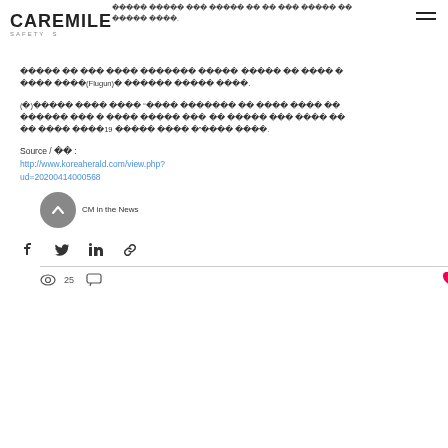CAREMILE SAFETY S [Korean text] - header navigation with Korean headline text
[Korean text] (Flugun) [Korean text].
(가)[Korean text] "[Korean text] 코로나19 [Korean text]"[Korean text].
Source / 출처 :
http://www.koreaherald.com/view.php?ud=20200414000568
CM in the News
25